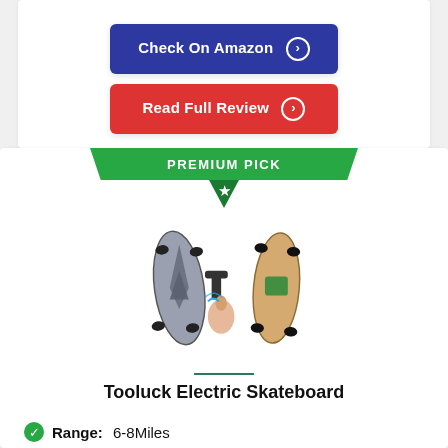[Figure (other): Blue button labeled 'Check On Amazon' with right-arrow circle icon]
[Figure (other): Red button labeled 'Read Full Review' with right-arrow circle icon]
[Figure (other): Green 'PREMIUM PICK' banner with star icon]
[Figure (photo): Product photo of Tooluck Electric Skateboard showing two skateboards and a remote control]
Tooluck Electric Skateboard
Range: 6-8Miles